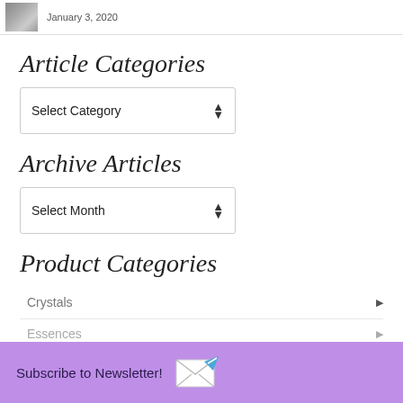January 3, 2020
Article Categories
Select Category
Archive Articles
Select Month
Product Categories
Crystals
Essences
Subscribe to Newsletter!